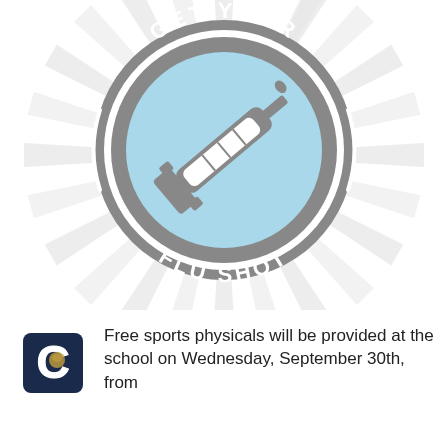[Figure (illustration): Get Your Flu Shot circular badge logo with syringe illustration on sunburst background]
Free sports physicals will be provided at the school on Wednesday, September 30th, from